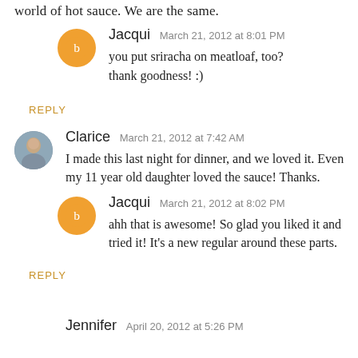world of hot sauce. We are the same.
Jacqui   March 21, 2012 at 8:01 PM
you put sriracha on meatloaf, too? thank goodness! :)
REPLY
Clarice   March 21, 2012 at 7:42 AM
I made this last night for dinner, and we loved it. Even my 11 year old daughter loved the sauce! Thanks.
Jacqui   March 21, 2012 at 8:02 PM
ahh that is awesome! So glad you liked it and tried it! It's a new regular around these parts.
REPLY
Jennifer   April 20, 2012 at 5:26 PM